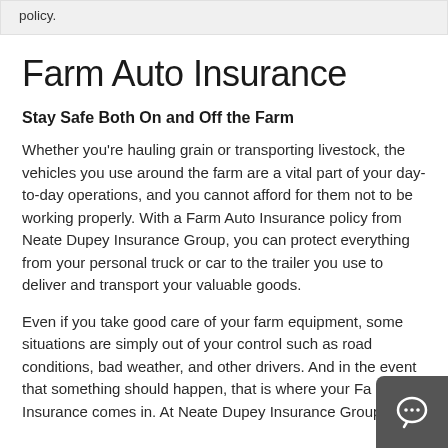policy.
Farm Auto Insurance
Stay Safe Both On and Off the Farm
Whether you're hauling grain or transporting livestock, the vehicles you use around the farm are a vital part of your day-to-day operations, and you cannot afford for them not to be working properly. With a Farm Auto Insurance policy from Neate Dupey Insurance Group, you can protect everything from your personal truck or car to the trailer you use to deliver and transport your valuable goods.
Even if you take good care of your farm equipment, some situations are simply out of your control such as road conditions, bad weather, and other drivers. And in the event that something should happen, that is where your Farm Auto Insurance comes in. At Neate Dupey Insurance Group, we can help you create a policy to fit your unique insurance needs.